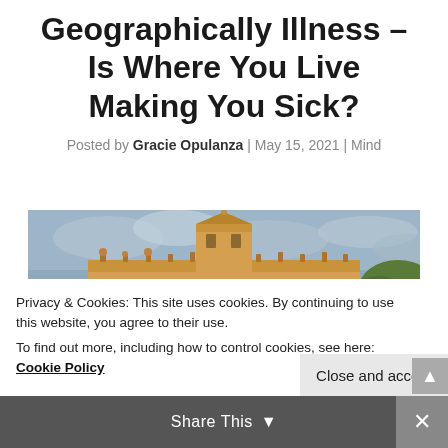Geographically Illness – Is Where You Live Making You Sick?
Posted by Gracie Opulanza | May 15, 2021 | Mind
[Figure (photo): Photograph of a classical building with ornate roofline and tower, set against a cloudy sky with green hills and trees in the background.]
Privacy & Cookies: This site uses cookies. By continuing to use this website, you agree to their use.
To find out more, including how to control cookies, see here: Cookie Policy
Close and accept
Share This